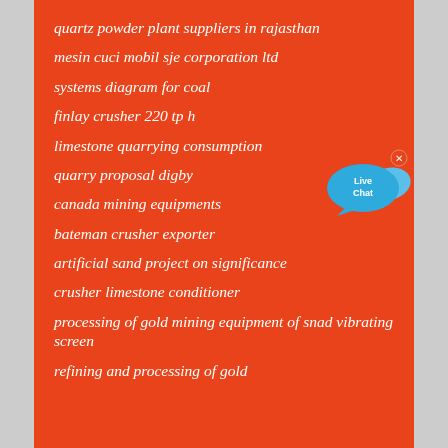quartz powder plant suppliers in rajasthan
mesin cuci mobil sje corporation ltd
systems diagram for coal
finlay crusher 220 tp h
limestone quarrying consumption
quarry proposal digby
canada mining equipments
bateman crusher exporter
artificial sand project on significance
crusher limestone conditioner
processing of gold mining equipment of snad vibrating screen
refining and processing of gold
[Figure (other): Live Chat button widget — blue speech bubble with 'Live Chat' text and an x close button]